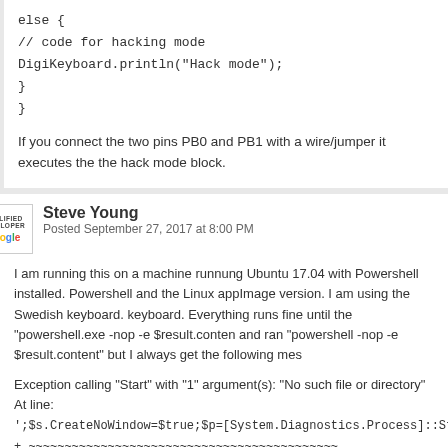else {
// code for hacking mode
DigiKeyboard.println("Hack mode");
}
}
If you connect the two pins PB0 and PB1 with a wire/jumper it executes the the hack mode block.
Steve Young
Posted September 27, 2017 at 8:00 PM
I am running this on a machine runnung Ubuntu 17.04 with Powershell installed. Powershell and the Linux appImage version. I am using the Swedish keyboard. Everything runs fine until the "powershell.exe -nop -e $result.content" and ran "powershell -nop -e $result.content" but I always get the following mes
Exception calling "Start" with "1" argument(s): "No such file or directory" At line:
';$s.CreateNoWindow=$true;$p=[System.Diagnostics.Process]::Start($s);
+ ~~~~~~~~~~~~~~~~~~~~~~~~~~~~~~~~~~~~~~~~~~~
+ CategoryInfo : NotSpecified: (:) [], MethodInvocationException